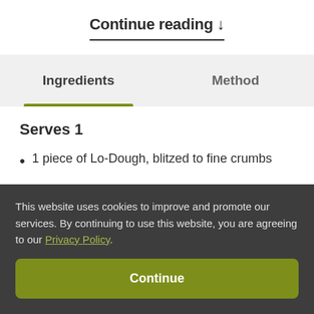Continue reading ↓
Ingredients
Method
Serves 1
1 piece of Lo-Dough, blitzed to fine crumbs
This website uses cookies to improve and promote our services. By continuing to use this website, you are agreeing to our Privacy Policy.
Continue